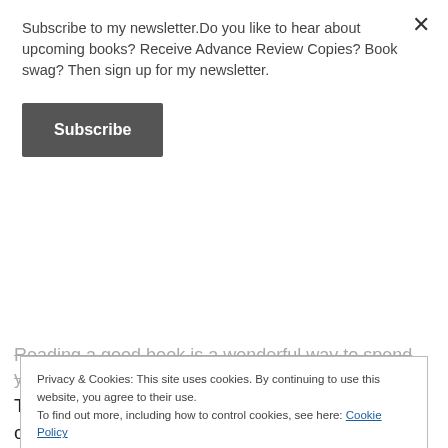Subscribe to my newsletter.Do you like to hear about upcoming books? Receive Advance Review Copies? Book swag? Then sign up for my newsletter.
Subscribe
Reading a good book is a wonderful way to spend your time. There are loads of genres to choose from – crime, romance, paranormal, Young Adult, New Adult, non-fiction, memoirs and literary fiction. All will sweep you away into the world created by the author and give you some much needed escape from reality time.
Privacy & Cookies: This site uses cookies. By continuing to use this website, you agree to their use. To find out more, including how to control cookies, see here: Cookie Policy
Close and accept
I also have a great collection of e-books on my iPad in the